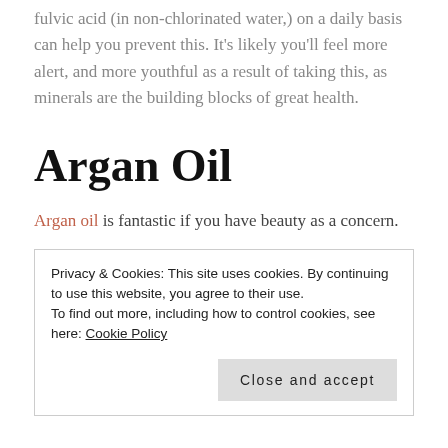fulvic acid (in non-chlorinated water,) on a daily basis can help you prevent this. It's likely you'll feel more alert, and more youthful as a result of taking this, as minerals are the building blocks of great health.
Argan Oil
Argan oil is fantastic if you have beauty as a concern.
Privacy & Cookies: This site uses cookies. By continuing to use this website, you agree to their use.
To find out more, including how to control cookies, see here: Cookie Policy
Close and accept
...